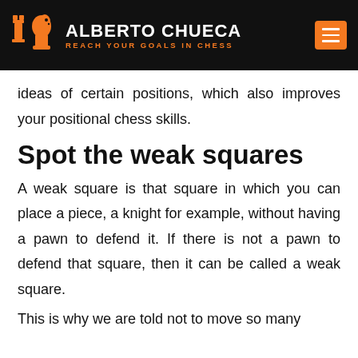ALBERTO CHUECA — REACH YOUR GOALS IN CHESS
ideas of certain positions, which also improves your positional chess skills.
Spot the weak squares
A weak square is that square in which you can place a piece, a knight for example, without having a pawn to defend it. If there is not a pawn to defend that square, then it can be called a weak square.
This is why we are told not to move so many